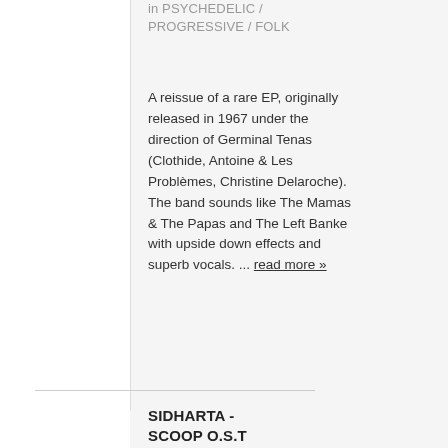in PSYCHEDELIC / PROGRESSIVE / FOLK
A reissue of a rare EP, originally released in 1967 under the direction of Germinal Tenas (Clothide, Antoine & Les Problèmes, Christine Delaroche). The band sounds like The Mamas & The Papas and The Left Banke with upside down effects and superb vocals. ... read more »
SIDHARTA - SCOOP O.S.T